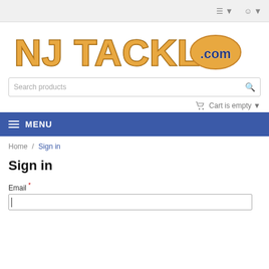NJ Tackle .com
[Figure (logo): NJ Tackle .com logo with wooden-style block letters and oval badge]
Search products
Cart is empty
MENU
Home / Sign in
Sign in
Email *